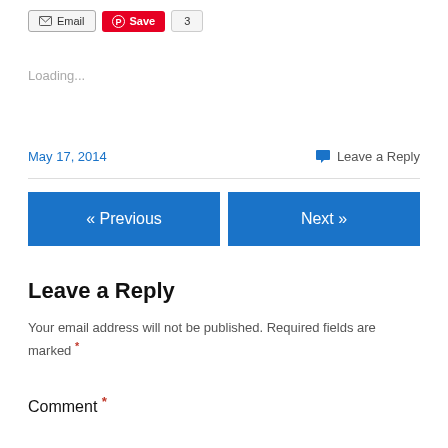Email | Save | 3
Loading...
May 17, 2014    Leave a Reply
« Previous    Next »
Leave a Reply
Your email address will not be published. Required fields are marked *
Comment *